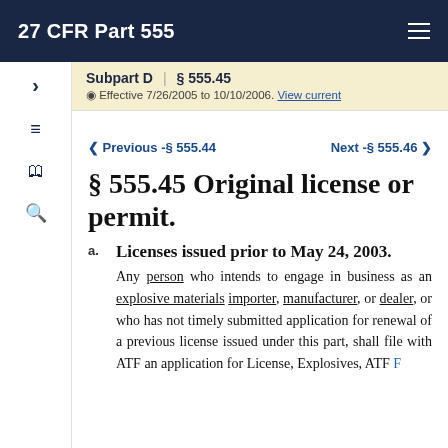27 CFR Part 555
Subpart D | § 555.45 — Effective 7/26/2005 to 10/10/2006. View current
Previous - § 555.44   Next - § 555.46
§ 555.45 Original license or permit.
a. Licenses issued prior to May 24, 2003. Any person who intends to engage in business as an explosive materials importer, manufacturer, or dealer, or who has not timely submitted application for renewal of a previous license issued under this part, shall file with ATF an application for License, Explosives, ATF F